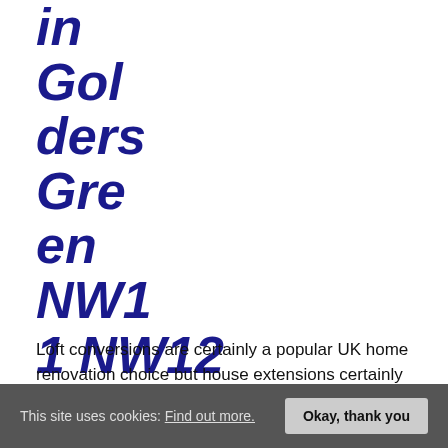in Golders Green NW11 NW12
Loft conversions are certainly a popular UK home renovation choice but house extensions certainly are not overlooked, especially in the capital where property extensions are experiencing a real boom. Indeed in Golder's Green NW11 NW12, relatively relaxed planning permissions have meant that there are more and more property owners and investors who are not wasting an inch of convertible space in their property. Of course more space means that Golders Green NW11, NW12 Property owners enjoy some real architectural masterpieces which seamlessly blend with the classic suburban architecture typical of this sought-after neighborhood.
This site uses cookies: Find out more. Okay, thank you